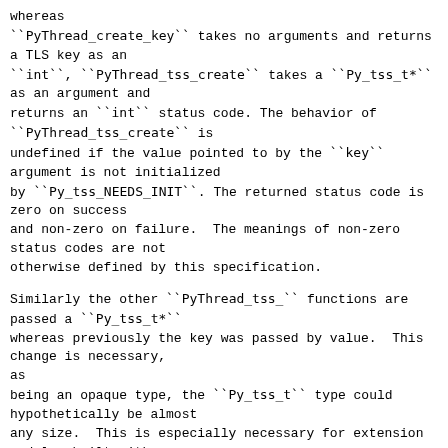whereas
``PyThread_create_key`` takes no arguments and returns a TLS key as an
``int``, ``PyThread_tss_create`` takes a ``Py_tss_t*``
as an argument and
returns an ``int`` status code. The behavior of
``PyThread_tss_create`` is
undefined if the value pointed to by the ``key``
argument is not initialized
by ``Py_tss_NEEDS_INIT``. The returned status code is
zero on success
and non-zero on failure.  The meanings of non-zero
status codes are not
otherwise defined by this specification.
Similarly the other ``PyThread_tss_`` functions are
passed a ``Py_tss_t*``
whereas previously the key was passed by value.  This
change is necessary,
as
being an opaque type, the ``Py_tss_t`` type could
hypothetically be almost
any size.  This is especially necessary for extension
modules built with
``Py_LIMITED_API``, where the size of the type is not
known.  Except for
``PyThread_tss_free``, the behaviors of
``PyThread_tss_`` are undefined if
the
value pointed to by the ``key`` argument is ``NULL``.